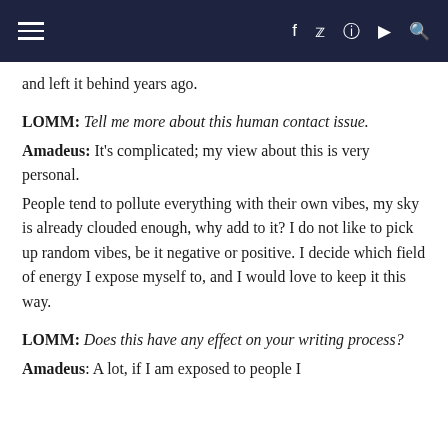Navigation bar with hamburger menu and social icons (f, Twitter, Instagram, YouTube, search)
and left it behind years ago.
LOMM: Tell me more about this human contact issue.
Amadeus: It's complicated; my view about this is very personal. People tend to pollute everything with their own vibes, my sky is already clouded enough, why add to it? I do not like to pick up random vibes, be it negative or positive. I decide which field of energy I expose myself to, and I would love to keep it this way.
LOMM: Does this have any effect on your writing process?
Amadeus: A lot, if I am exposed to people I